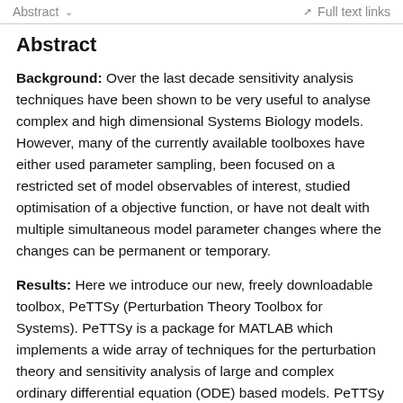Abstract  ∨   Full text links
Abstract
Background: Over the last decade sensitivity analysis techniques have been shown to be very useful to analyse complex and high dimensional Systems Biology models. However, many of the currently available toolboxes have either used parameter sampling, been focused on a restricted set of model observables of interest, studied optimisation of a objective function, or have not dealt with multiple simultaneous model parameter changes where the changes can be permanent or temporary.
Results: Here we introduce our new, freely downloadable toolbox, PeTTSy (Perturbation Theory Toolbox for Systems). PeTTSy is a package for MATLAB which implements a wide array of techniques for the perturbation theory and sensitivity analysis of large and complex ordinary differential equation (ODE) based models. PeTTSy is a comprehensive modelling